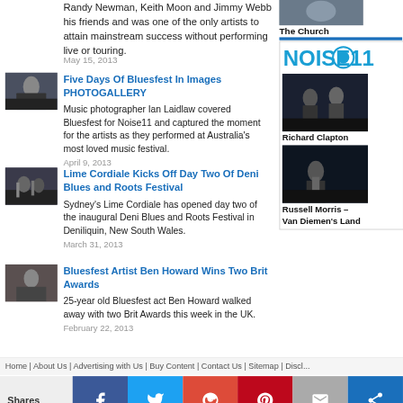Randy Newman, Keith Moon and Jimmy Webb his friends and was one of the only artists to attain mainstream success without performing live or touring.
May 15, 2013
[Figure (photo): Performer on stage shirtless]
Five Days Of Bluesfest In Images PHOTOGALLERY
Music photographer Ian Laidlaw covered Bluesfest for Noise11 and captured the moment for the artists as they performed at Australia's most loved music festival.
April 9, 2013
[Figure (photo): Band performing on stage]
Lime Cordiale Kicks Off Day Two Of Deni Blues and Roots Festival
Sydney's Lime Cordiale has opened day two of the inaugural Deni Blues and Roots Festival in Deniliquin, New South Wales.
March 31, 2013
[Figure (photo): Man smoking]
Bluesfest Artist Ben Howard Wins Two Brit Awards
25-year old Bluesfest act Ben Howard walked away with two Brit Awards this week in the UK.
February 22, 2013
[Figure (photo): Portrait photo top right]
The Church
[Figure (logo): Noise11 logo]
[Figure (photo): Richard Clapton performing]
Richard Clapton
[Figure (photo): Russell Morris performing]
Russell Morris – Van Diemen's Land
Home | About Us | Advertising with Us | Buy Content | Contact Us | Sitemap | Disclaimer
Shares